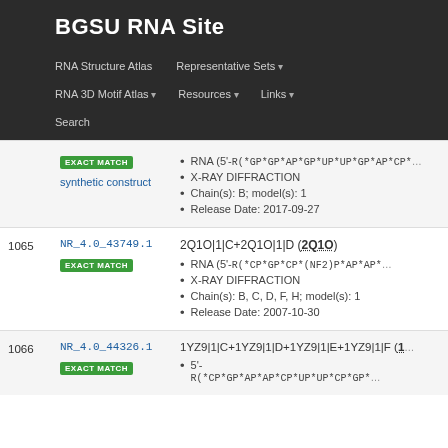BGSU RNA Site
RNA Structure Atlas | Representative Sets ▾ | RNA 3D Motif Atlas ▾ | Resources ▾ | Links ▾ | Search
| # | ID | Details |
| --- | --- | --- |
|  | EXACT MATCH / synthetic construct | RNA (5'-R(*GP*GP*AP*GP*UP*UP*GP*AP*CP*... • X-RAY DIFFRACTION • Chain(s): B; model(s): 1 • Release Date: 2017-09-27 |
| 1065 | NR_4.0_43749.1 / EXACT MATCH | 2Q1O|1|C+2Q1O|1|D (2Q1O) • RNA (5'-R(*CP*GP*CP*(NF2)P*AP*AP*... • X-RAY DIFFRACTION • Chain(s): B, C, D, F, H; model(s): 1 • Release Date: 2007-10-30 |
| 1066 | NR_4.0_44326.1 / EXACT MATCH | 1YZ9|1|C+1YZ9|1|D+1YZ9|1|E+1YZ9|1|F (1... • 5'-R(*CP*GP*AP*AP*CP*UP*UP*CP*GP*... |